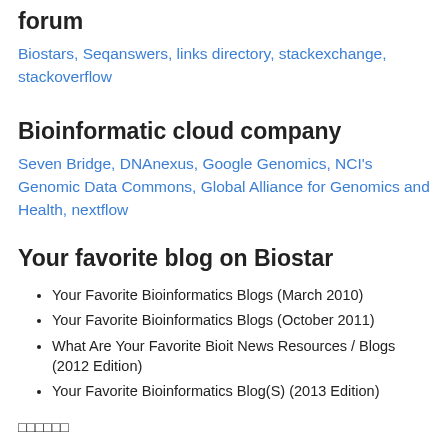forum
Biostars, Seqanswers, links directory, stackexchange, stackoverflow
Bioinformatic cloud company
Seven Bridge, DNAnexus, Google Genomics, NCI's Genomic Data Commons, Global Alliance for Genomics and Health, nextflow
Your favorite blog on Biostar
Your Favorite Bioinformatics Blogs (March 2010)
Your Favorite Bioinformatics Blogs (October 2011)
What Are Your Favorite Bioit News Resources / Blogs (2012 Edition)
Your Favorite Bioinformatics Blog(S) (2013 Edition)
□□□□□□